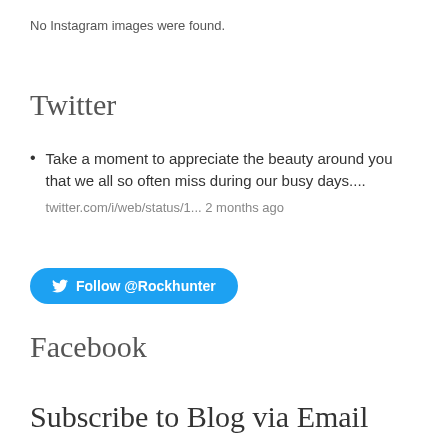No Instagram images were found.
Twitter
Take a moment to appreciate the beauty around you that we all so often miss during our busy days.... twitter.com/i/web/status/1... 2 months ago
[Figure (other): Follow @Rockhunter button with Twitter bird icon]
Facebook
Subscribe to Blog via Email